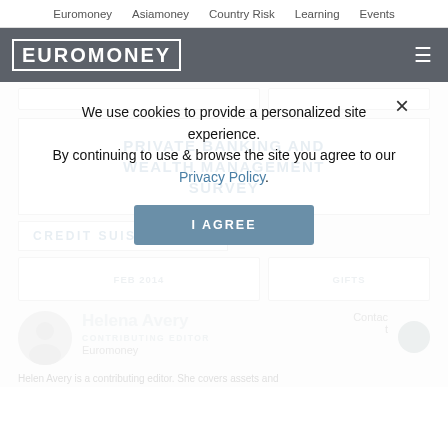Euromoney   Asiamoney   Country Risk   Learning   Events
[Figure (logo): Euromoney logo in white block letters on dark grey header bar with hamburger menu icon]
PRIVATE BANKING AND WEALTH MANAGEMENT SURVEY
CREDIT SUISSE
We use cookies to provide a personalized site experience. By continuing to use & browse the site you agree to our Privacy Policy.
I AGREE
Helena Avery
CONTRIBUTING EDITOR
Euromoney
Helen Avery is a contributing editor. She covers assets and